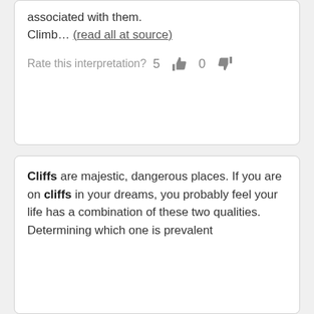associated with them. Climb… (read all at source)
Rate this interpretation? 5 👍 0 👎
Cliffs are majestic, dangerous places. If you are on cliffs in your dreams, you probably feel your life has a combination of these two qualities. Determining which one is prevalent…